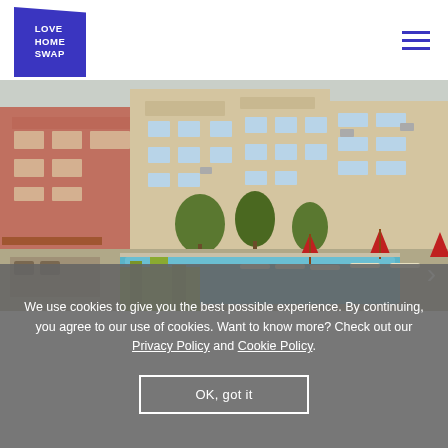[Figure (logo): Love Home Swap logo — blue trapezoid shape with white bold text reading LOVE HOME SWAP]
[Figure (photo): Photograph of a Mediterranean apartment complex with balconies, trees, and a resort swimming pool with sun loungers and red umbrellas in the foreground]
We use cookies to give you the best possible experience. By continuing, you agree to our use of cookies. Want to know more? Check out our Privacy Policy and Cookie Policy
OK, got it